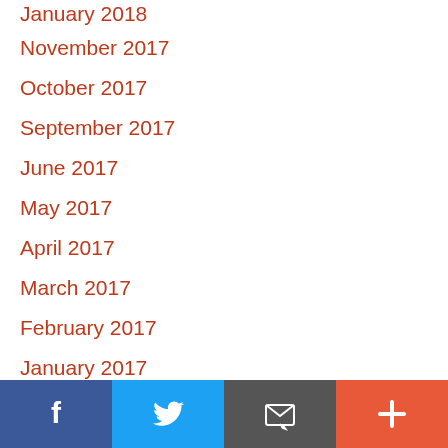January 2018
November 2017
October 2017
September 2017
June 2017
May 2017
April 2017
March 2017
February 2017
January 2017
December 2016
November 2016
October 2016
[Figure (other): Social share footer bar with Facebook, Twitter, Email, and Plus buttons]